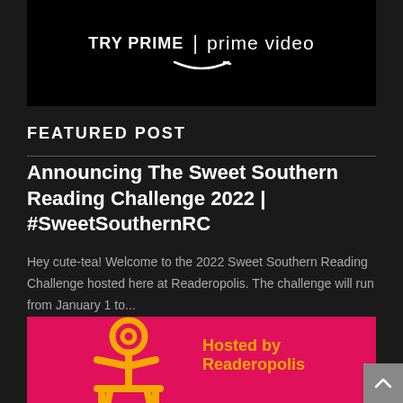[Figure (screenshot): Amazon Prime Video advertisement banner with TRY PRIME | prime video text and Amazon smile logo on black background]
FEATURED POST
Announcing The Sweet Southern Reading Challenge 2022 | #SweetSouthernRC
Hey cute-tea! Welcome to the 2022 Sweet Southern Reading Challenge hosted here at Readeropolis. The challenge will run from January 1 to...
[Figure (illustration): Pink/magenta background with yellow stick figure reading, 'Hosted by Readeropolis' in orange text, and 'HEY, CUTE-' text partially visible at bottom right]